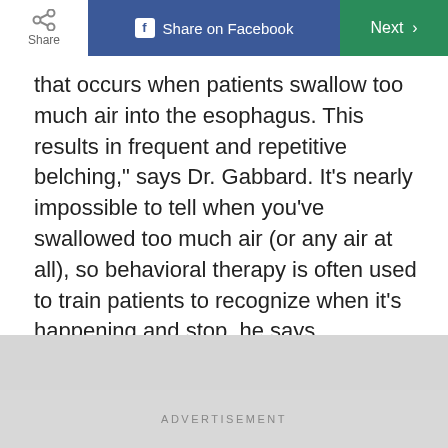Share | Share on Facebook | Next
that occurs when patients swallow too much air into the esophagus. This results in frequent and repetitive belching," says Dr. Gabbard. It’s nearly impossible to tell when you’ve swallowed too much air (or any air at all), so behavioral therapy is often used to train patients to recognize when it’s happening and stop, he says.
ADVERTISEMENT
ADVERTISEMENT